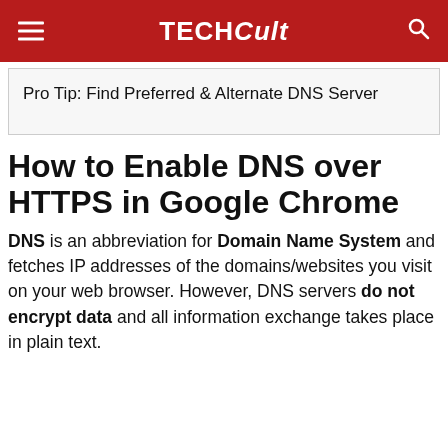TECHCult
Pro Tip: Find Preferred & Alternate DNS Server
How to Enable DNS over HTTPS in Google Chrome
DNS is an abbreviation for Domain Name System and fetches IP addresses of the domains/websites you visit on your web browser. However, DNS servers do not encrypt data and all information exchange takes place in plain text.